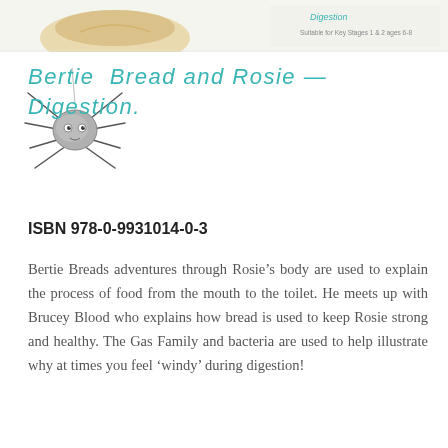[Figure (illustration): Top strip showing a partial book cover with bread illustration and text reading 'Digestion' and 'Suitable for Key Stages 1 & 2 ages 6-8']
Bertie Bread and Rosie — Digestion.
[Figure (illustration): Hand-drawn cartoon spider with a round grey body and face with eyes, pencil sketch style with legs spread out]
ISBN 978-0-9931014-0-3
Bertie Breads adventures through Rosie's body are used to explain the process of food from the mouth to the toilet. He meets up with Brucey Blood who explains how bread is used to keep Rosie strong and healthy. The Gas Family and bacteria are used to help illustrate why at times you feel 'windy' during digestion!